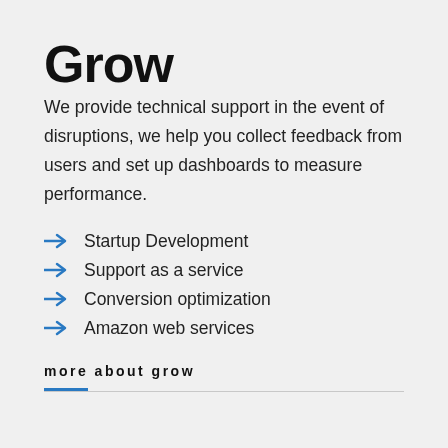Grow
We provide technical support in the event of disruptions, we help you collect feedback from users and set up dashboards to measure performance.
Startup Development
Support as a service
Conversion optimization
Amazon web services
more about grow